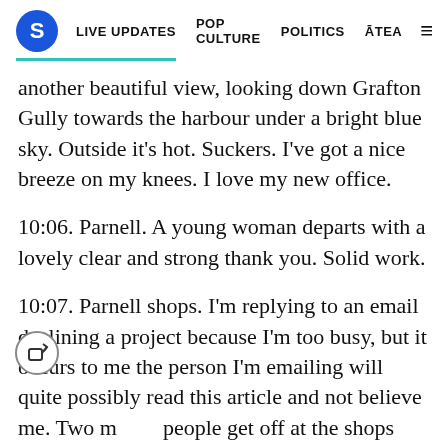S  LIVE UPDATES  POP CULTURE  POLITICS  ĀTEA  ≡
another beautiful view, looking down Grafton Gully towards the harbour under a bright blue sky. Outside it's hot. Suckers. I've got a nice breeze on my knees. I love my new office.
10:06. Parnell. A young woman departs with a lovely clear and strong thank you. Solid work.
10:07. Parnell shops. I'm replying to an email declining a project because I'm too busy, but it occurs to me the person I'm emailing will quite possibly read this article and not believe me. Two more people get off at the shops with quiet but unmistakable thanks. Now we're talking. Can't you see, Deirdre? I'm a data journalist now.